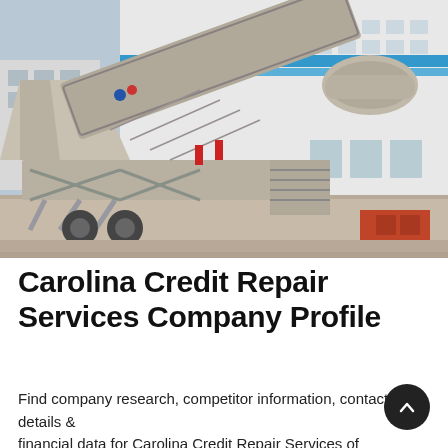[Figure (photo): Industrial mobile concrete batching plant or conveyor/mixing equipment parked in a paved yard in front of a large white industrial building with blue horizontal stripe accents. The machine is gray metal with a large inclined conveyor belt.]
Carolina Credit Repair Services Company Profile
Find company research, competitor information, contact details & financial data for Carolina Credit Repair Services of Charlotte, NC. Get the latest business insights from Dun & Bradstreet.